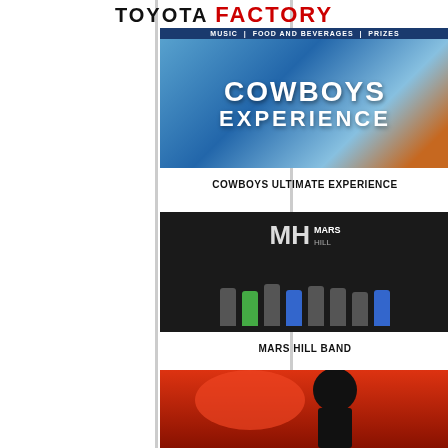TOYOTA FACTORY
[Figure (photo): Cowboys Ultimate Experience promotional image showing a football helmet and football with text 'MUSIC | FOOD AND BEVERAGES | PRIZES' and 'COWBOYS EXPERIENCE']
COWBOYS ULTIMATE EXPERIENCE
[Figure (photo): Mars Hill Band performing on stage with band logo backdrop showing 'MH MARS HILL' and musicians playing instruments]
MARS HILL BAND
[Figure (photo): Third event image partially visible at bottom of page]